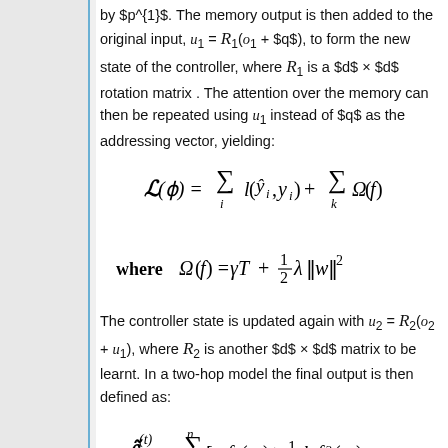by $p^{1}$. The memory output is then added to the original input, u_1 = R_1(o_1 + $q$), to form the new state of the controller, where R_1 is a $d$ × $d$ rotation matrix. The attention over the memory can then be repeated using u_1 instead of $q$ as the addressing vector, yielding:
The controller state is updated again with u_2 = R_2(o_2 + u_1), where R_2 is another $d$ × $d$ matrix to be learnt. In a two-hop model the final output is then defined as: